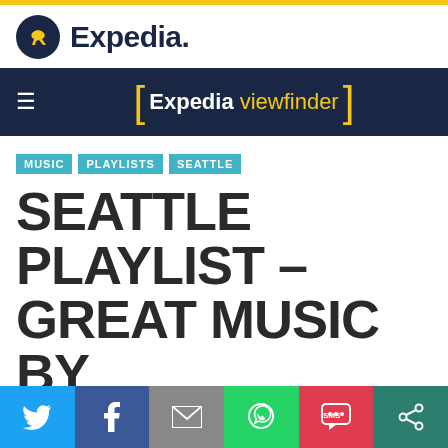[Figure (logo): Expedia logo with airplane icon in dark navy circle and 'Expedia.' wordmark]
Expedia viewfinder
MUSIC  PLAYLISTS  SEATTLE
SEATTLE PLAYLIST – GREAT MUSIC BY MUSICIANS FROM SEATTLE
[Figure (infographic): Social sharing bar with Twitter, Facebook, Email, WhatsApp, SMS, and share icons]